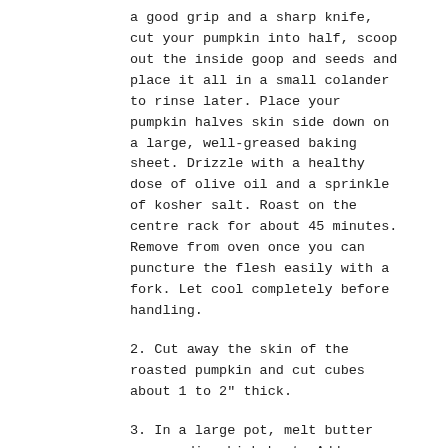a good grip and a sharp knife, cut your pumpkin into half, scoop out the inside goop and seeds and place it all in a small colander to rinse later. Place your pumpkin halves skin side down on a large, well-greased baking sheet. Drizzle with a healthy dose of olive oil and a sprinkle of kosher salt. Roast on the centre rack for about 45 minutes. Remove from oven once you can puncture the flesh easily with a fork. Let cool completely before handling.
2. Cut away the skin of the roasted pumpkin and cut cubes about 1 to 2" thick.
3. In a large pot, melt butter over medium-high heat. Add